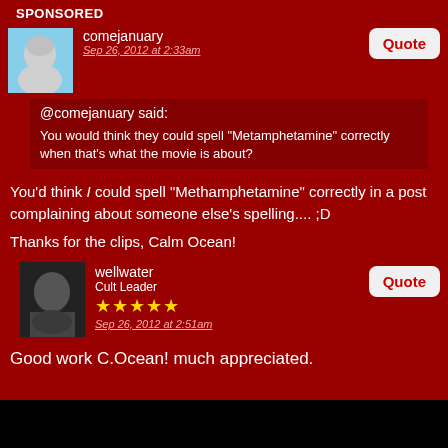SPONSORED
comejanuary
Sep 26, 2012 at 2:33am
@comejanuary said:
You would think they could spell "Metamphetamine" correctly when that's what the movie is about?
You'd think I could spell "Methamphetamine" correctly in a post complaining about someone else's spelling.... ;D
Thanks for the clips, Calm Ocean!
wellwater
Cult Leader
★★★★★
Sep 26, 2012 at 2:51am
Good work C.Ocean! much appreciated.